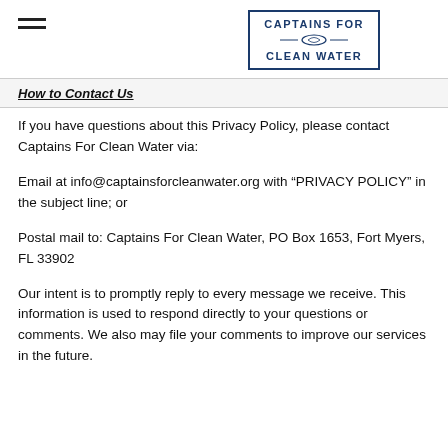Captains For Clean Water
How to Contact Us
If you have questions about this Privacy Policy, please contact Captains For Clean Water via:
Email at info@captainsforcleanwater.org with “PRIVACY POLICY” in the subject line; or
Postal mail to: Captains For Clean Water, PO Box 1653, Fort Myers, FL 33902
Our intent is to promptly reply to every message we receive. This information is used to respond directly to your questions or comments. We also may file your comments to improve our services in the future.